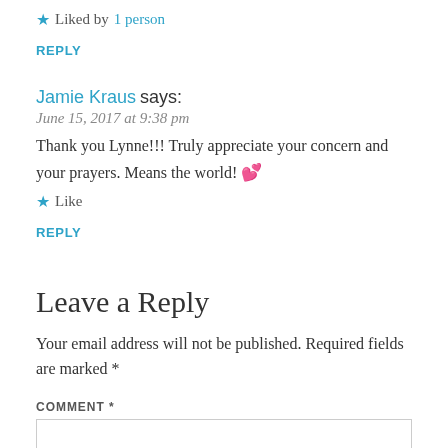★ Liked by 1 person
REPLY
Jamie Kraus says:
June 15, 2017 at 9:38 pm
Thank you Lynne!!! Truly appreciate your concern and your prayers. Means the world! 💕
★ Like
REPLY
Leave a Reply
Your email address will not be published. Required fields are marked *
COMMENT *